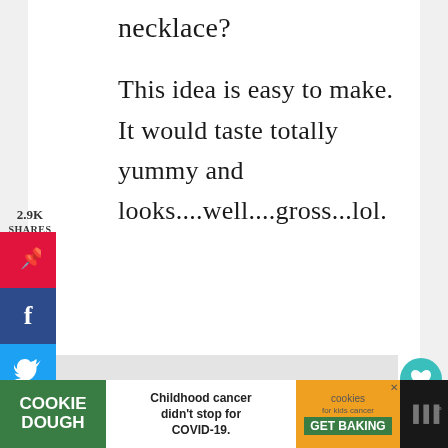necklace?
This idea is easy to make. It would taste totally yummy and looks....well....gross...lol.
2.9K
SHARES
[Figure (screenshot): Social share sidebar buttons: Pinterest (red), Facebook (dark blue), Twitter (light blue)]
[Figure (photo): Image placeholder area with three pagination dots below, and a teal heart button and share button on the right side]
[Figure (infographic): Cookie Dough advertisement banner: green left panel with COOKIE DOUGH text, white middle panel with 'Childhood cancer didn't stop for COVID-19.', orange right panel with cookies for kids cancer GET BAKING, and dark right end with weather widget]